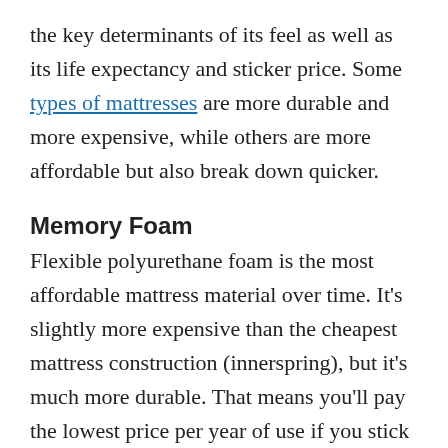the key determinants of its feel as well as its life expectancy and sticker price. Some types of mattresses are more durable and more expensive, while others are more affordable but also break down quicker.
Memory Foam
Flexible polyurethane foam is the most affordable mattress material over time. It's slightly more expensive than the cheapest mattress construction (innerspring), but it's much more durable. That means you'll pay the lowest price per year of use if you stick with a memory foam mattress. Expect to pay around $1150 for a queen memory foam